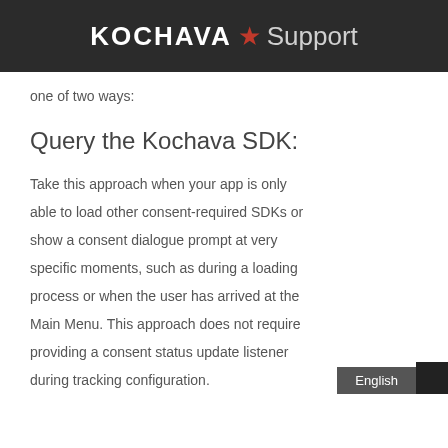KOCHAVA ★ Support
one of two ways:
Query the Kochava SDK:
Take this approach when your app is only able to load other consent-required SDKs or show a consent dialogue prompt at very specific moments, such as during a loading process or when the user has arrived at the Main Menu. This approach does not require providing a consent status update listener during tracking configuration.